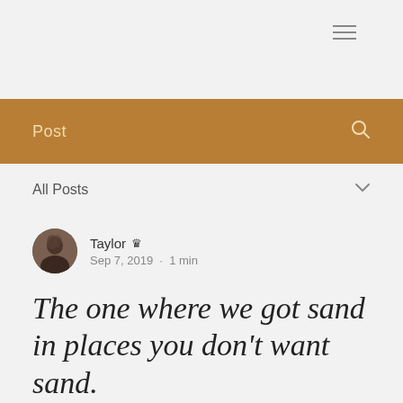≡
Post
All Posts
[Figure (photo): Circular avatar photo of a person with dark hair]
Taylor 👑
Sep 7, 2019  ·  1 min
The one where we got sand in places you don't want sand.
Updated: Sep 10, 2019